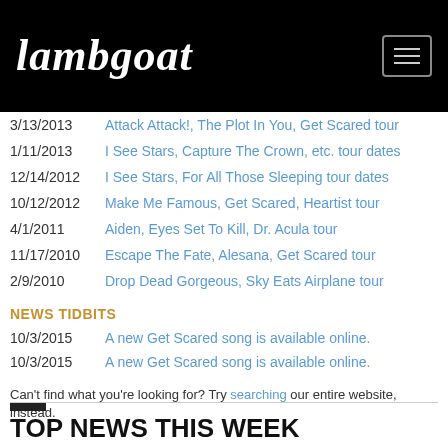Lambgoat
3/13/2013 - Attack Attack!, The Plot In You, Get Scared tour
1/11/2013 - I See Stars, Capture The Crown, etc. tour dates
12/14/2012 - I See Stars, For All Those Sleeping tour dates
10/12/2012 - Make Me Famous, Get Scared, Heartist tour
4/1/2011 - Aiden, Eyes Set To Kill, Dr. Acula tour
11/17/2010 - Escape The Fate, Alesana, Get Scared tour
2/9/2010 - Drop Dead Gorgeous, Sky Eats Airplane tour
NEWS TIDBITS
10/3/2015 - A new Get Scared song is available online.
10/3/2015 - A new Get Scared song is available online.
Can't find what you're looking for? Try searching our entire website, instead.
TOP NEWS THIS WEEK